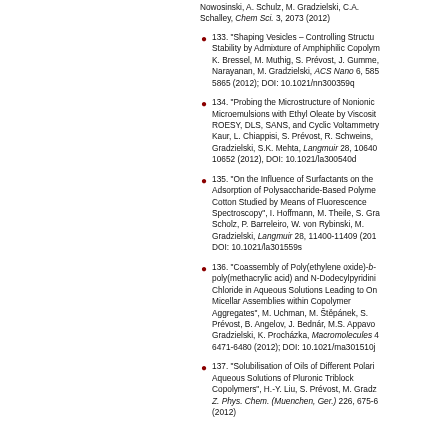Nowosinski, A. Schulz, M. Gradzielski, C.A. Schalley, Chem Sci. 3, 2073 (2012)
133. "Shaping Vesicles – Controlling Structure Stability by Admixture of Amphiphilic Copolymers", K. Bressel, M. Muthig, S. Prévost, J. Gummel, T. Narayanan, M. Gradzielski, ACS Nano 6, 5858-5865 (2012); DOI: 10.1021/nn300359q
134. "Probing the Microstructure of Nonionic Microemulsions with Ethyl Oleate by Viscosity, ROESY, DLS, SANS, and Cyclic Voltammetry", H. Kaur, L. Chiappisi, S. Prévost, R. Schweins, M. Gradzielski, S.K. Mehta, Langmuir 28, 10640-10652 (2012), DOI: 10.1021/la300540d
135. "On the Influence of Surfactants on the Adsorption of Polysaccharide-Based Polymers on Cotton Studied by Means of Fluorescence Spectroscopy", I. Hoffmann, M. Theile, S. Graalmann, Scholz, P. Barreleiro, W. von Rybinski, M. Gradzielski, Langmuir 28, 11400-11409 (2012), DOI: 10.1021/la301559s
136. "Coassembly of Poly(ethylene oxide)-b-poly(methacrylic acid) and N-Dodecylpyridinium Chloride in Aqueous Solutions Leading to Original Micellar Assemblies within Copolymer Aggregates", M. Uchman, M. Štěpánek, S. Prévost, B. Angelov, J. Bednár, M.S. Appavou, M. Gradzielski, K. Procházka, Macromolecules 45, 6471-6480 (2012); DOI: 10.1021/ma301510j
137. "Solubilisation of Oils of Different Polarity in Aqueous Solutions of Pluronic Triblock Copolymers", H.-Y. Liu, S. Prévost, M. Gradzielski, Z. Phys. Chem. (Muenchen, Ger.) 226, 675-6 (2012)